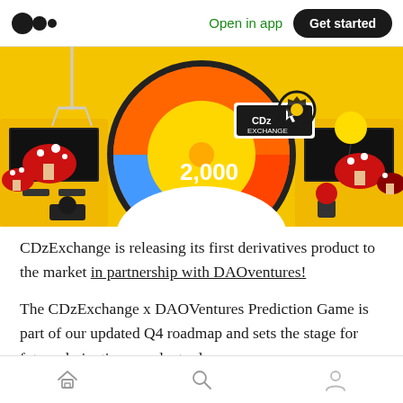Medium logo | Open in app | Get started
[Figure (illustration): Colorful arcade game themed illustration showing a prize wheel with CDzExchange logo and '2,000' displayed, with arcade machines and red mushroom decorations on a yellow background.]
CDzExchange is releasing its first derivatives product to the market in partnership with DAOventures!
The CDzExchange x DAOVentures Prediction Game is part of our updated Q4 roadmap and sets the stage for future derivatives product releases.
Home | Search | Profile